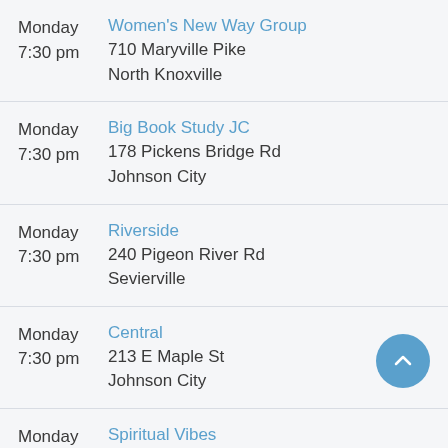Monday 7:30 pm | Women's New Way Group | 710 Maryville Pike, North Knoxville
Monday 7:30 pm | Big Book Study JC | 178 Pickens Bridge Rd, Johnson City
Monday 7:30 pm | Riverside | 240 Pigeon River Rd, Sevierville
Monday 7:30 pm | Central | 213 E Maple St, Johnson City
Monday 8:00 pm | Spiritual Vibes | 3920 Martin Luther King Jr Ave, North Knoxville